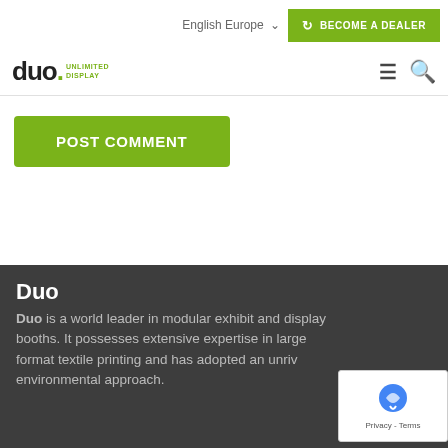English Europe   BECOME A DEALER
[Figure (logo): Duo Unlimited Display logo with hamburger menu and search icon]
POST COMMENT
Duo
Duo is a world leader in modular exhibit and display booths. It possesses extensive expertise in large format textile printing and has adopted an unrivalled environmental approach.